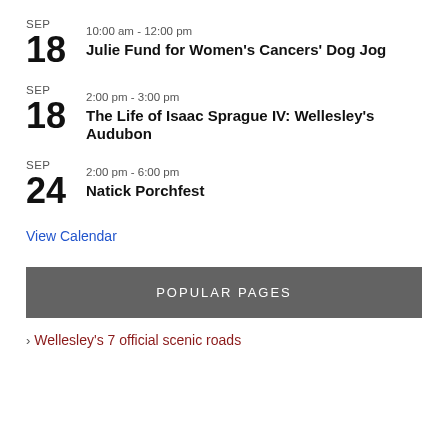SEP 18 10:00 am - 12:00 pm Julie Fund for Women's Cancers' Dog Jog
SEP 18 2:00 pm - 3:00 pm The Life of Isaac Sprague IV: Wellesley's Audubon
SEP 24 2:00 pm - 6:00 pm Natick Porchfest
View Calendar
POPULAR PAGES
Wellesley's 7 official scenic roads